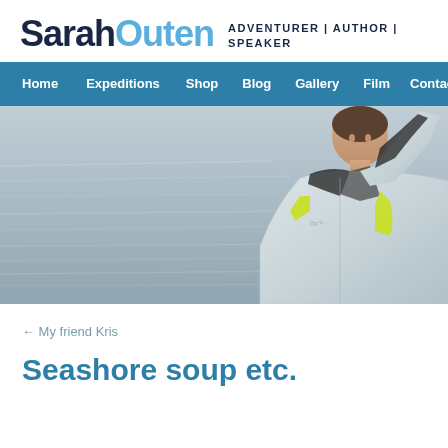SarahOuten ADVENTURER | AUTHOR | SPEAKER
[Figure (screenshot): Navigation menu bar with teal/blue background containing links: Home, Expeditions, Shop, Blog, Gallery, Film, Contact]
[Figure (photo): Hero photograph of a person (Sarah Outen) on the ocean, wearing a white/grey sailing jacket with yellow-green safety vest, arm raised, with grey choppy ocean water in the background]
← My friend Kris
Seashore soup etc.